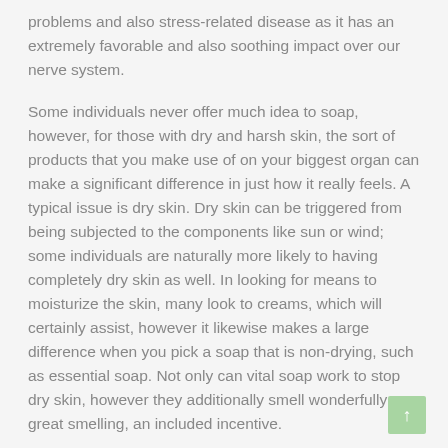problems and also stress-related disease as it has an extremely favorable and also soothing impact over our nerve system.
Some individuals never offer much idea to soap, however, for those with dry and harsh skin, the sort of products that you make use of on your biggest organ can make a significant difference in just how it really feels. A typical issue is dry skin. Dry skin can be triggered from being subjected to the components like sun or wind; some individuals are naturally more likely to having completely dry skin as well. In looking for means to moisturize the skin, many look to creams, which will certainly assist, however it likewise makes a large difference when you pick a soap that is non-drying, such as essential soap. Not only can vital soap work to stop dry skin, however they additionally smell wonderfully great smelling, an included incentive.
The important oils made use of in vital soaps are derived